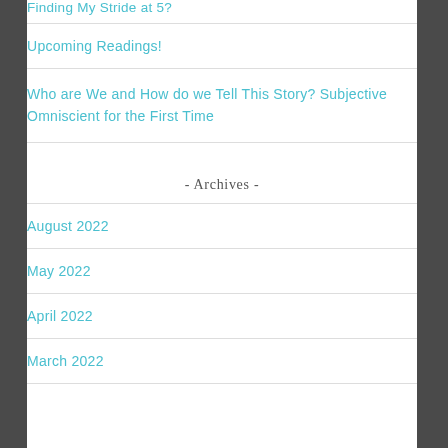Finding My Stride at 5?
Upcoming Readings!
Who are We and How do we Tell This Story? Subjective Omniscient for the First Time
- Archives -
August 2022
May 2022
April 2022
March 2022